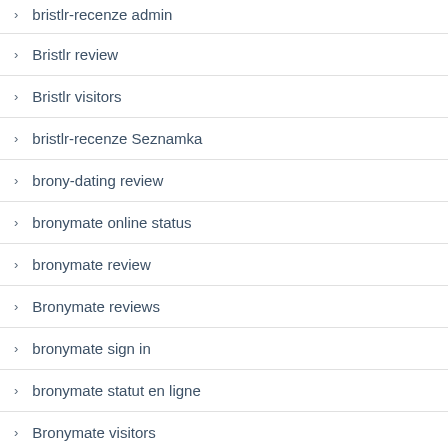bristlr-recenze admin (partial, top of page)
Bristlr review
Bristlr visitors
bristlr-recenze Seznamka
brony-dating review
bronymate online status
bronymate review
Bronymate reviews
bronymate sign in
bronymate statut en ligne
Bronymate visitors (partial, bottom of page)